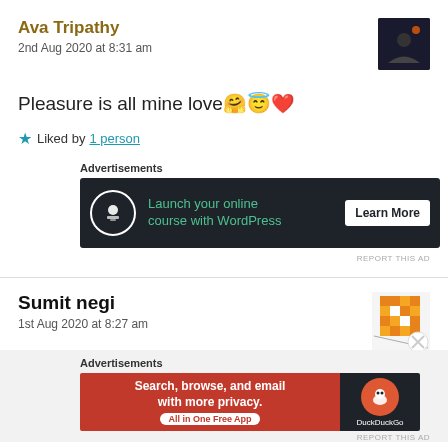Ava Tripathy
2nd Aug 2020 at 8:31 am
Pleasure is all mine love🤗😇❤️
★ Liked by 1 person
Advertisements
[Figure (screenshot): Dark ad banner: Launch your online course with WordPress - Learn More]
Sumit negi
1st Aug 2020 at 8:27 am
Advertisements
[Figure (screenshot): DuckDuckGo ad: Search, browse, and email with more privacy. All in One Free App]